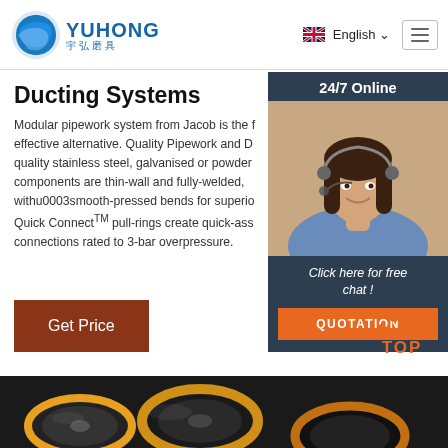YUHONG 宇弘磨具 | English | Navigation
Ducting Systems
Modular pipework system from Jacob is the f... effective alternative. Quality Pipework and D... quality stainless steel, galvanised or powder... components are thin-wall and fully-welded, withu0003smooth-pressed bends for superio... Quick ConnectTM pull-rings create quick-ass... connections rated to 3-bar overpressure.
[Figure (photo): Customer service representative wearing headset, 24/7 Online chat widget sidebar with blue/dark background, 'Click here for free chat!' text, and QUOTATION orange button]
Get Price
[Figure (other): Orange TOP button with dot arc icon above the text TOP in orange color]
[Figure (photo): Product strip at bottom showing industrial abrasive wheels/ducting products]